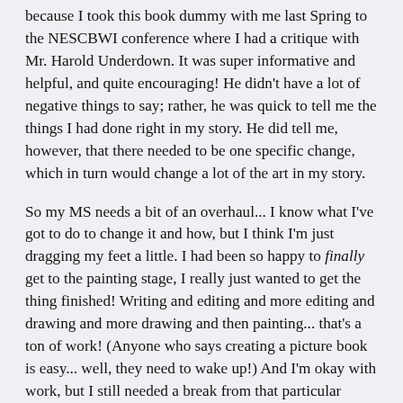because I took this book dummy with me last Spring to the NESCBWI conference where I had a critique with Mr. Harold Underdown. It was super informative and helpful, and quite encouraging! He didn't have a lot of negative things to say; rather, he was quick to tell me the things I had done right in my story. He did tell me, however, that there needed to be one specific change, which in turn would change a lot of the art in my story.
So my MS needs a bit of an overhaul... I know what I've got to do to change it and how, but I think I'm just dragging my feet a little. I had been so happy to finally get to the painting stage, I really just wanted to get the thing finished! Writing and editing and more editing and drawing and more drawing and then painting... that's a ton of work! (Anyone who says creating a picture book is easy... well, they need to wake up!) And I'm okay with work, but I still needed a break from that particular piece, so I've been working on other things, like my portfolio and Client work.
Anyhow, now you know why those pieces haven't been finished, and I still plan to at least make them portfolio-ready even though they won't make it in the final story. Or perhaps I'll change my mind again and they will, who knows? You'll at least be able to say